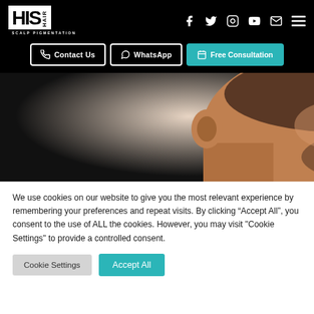[Figure (logo): HIS Hair Scalp Pigmentation logo — white box with bold HIS text and HAIR vertical text, SCALP PIGMENTATION subtitle]
[Figure (infographic): Navigation bar with social media icons: Facebook, Twitter, Instagram, YouTube, Email, Menu]
[Figure (infographic): Navigation buttons: Contact Us (outline), WhatsApp (outline), Free Consultation (teal)]
[Figure (photo): Side profile of a bald Black man with stubble beard and close-cropped hair showing scalp pigmentation treatment]
We use cookies on our website to give you the most relevant experience by remembering your preferences and repeat visits. By clicking “Accept All”, you consent to the use of ALL the cookies. However, you may visit "Cookie Settings" to provide a controlled consent.
[Figure (infographic): Cookie consent buttons: Cookie Settings (grey) and Accept All (teal)]